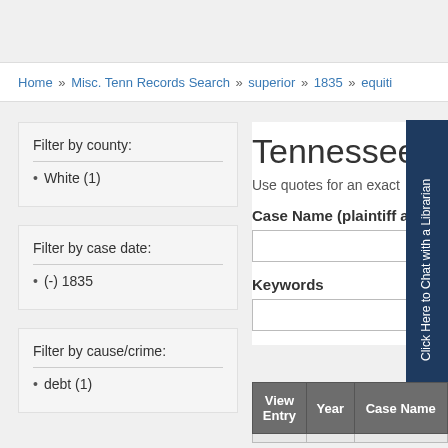Home » Misc. Tenn Records Search » superior » 1835 » equiti
Filter by county:
White (1)
Filter by case date:
(-) 1835
Filter by cause/crime:
debt (1)
Tennessee S
Use quotes for an exact
Case Name (plaintiff a
Keywords
| View Entry | Year | Case Name |
| --- | --- | --- |